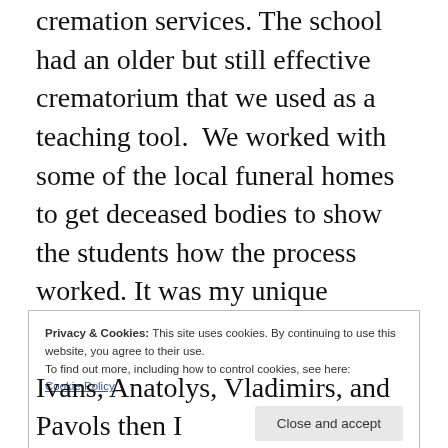cremation services. The school had an older but still effective crematorium that we used as a teaching tool. We worked with some of the local funeral homes to get deceased bodies to show the students how the process worked. It was my unique position of having these means of disposal that attracted the Russian mob to me in the first place.
Well, to be honest, it was my dumb cousin Ronnie that really attracted them to me. If he
Privacy & Cookies: This site uses cookies. By continuing to use this website, you agree to their use.
To find out more, including how to control cookies, see here:
Cookie Policy

Close and accept
Ivans, Anatolys, Vladimirs, and Pavols then I